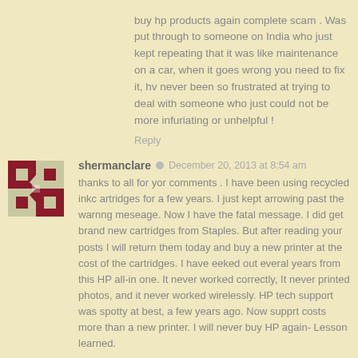buy hp products again complete scam . Was put through to someone on India who just kept repeating that it was like maintenance on a car, when it goes wrong you need to fix it, hv never been so frustrated at trying to deal with someone who just could not be more infuriating or unhelpful !
Reply
shermanclare  December 20, 2013 at 8:54 am
thanks to all for yor comments . I have been using recycled inkc artridges for a few years. I just kept arrowing past the warnng meseage. Now I have the fatal message. I did get brand new cartridges from Staples. But after reading your posts I will return them today and buy a new printer at the cost of the cartridges. I have eeked out everal years from this HP all-in one. It never worked correctly, It never printed photos, and it never worked wirelessly. HP tech support was spotty at best, a few years ago. Now supprt costs more than a new printer. I will never buy HP again- Lesson learned.
Reply
mmg  January 9, 2014 at 10:31 pm